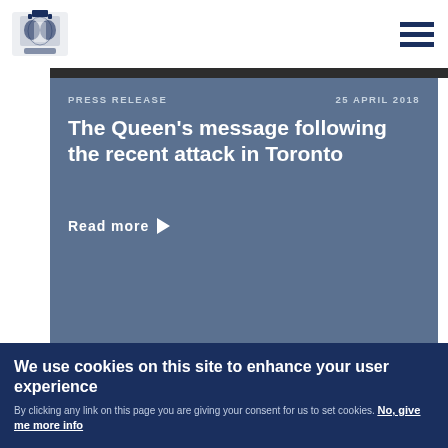Royal Coat of Arms logo and hamburger menu
PRESS RELEASE   25 APRIL 2018
The Queen's message following the recent attack in Toronto
Read more ▶
We use cookies on this site to enhance your user experience
By clicking any link on this page you are giving your consent for us to set cookies. No, give me more info
OK, I agree